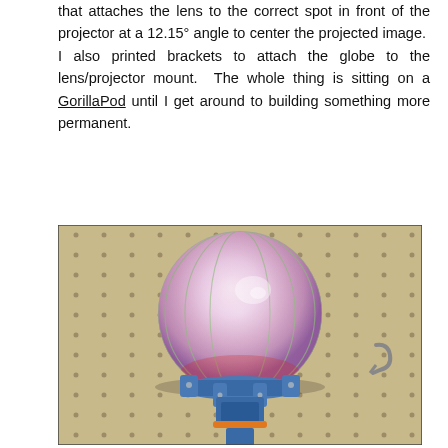that attaches the lens to the correct spot in front of the projector at a 12.15° angle to center the projected image.  I also printed brackets to attach the globe to the lens/projector mount.  The whole thing is sitting on a GorillaPod until I get around to building something more permanent.
[Figure (photo): A translucent white globe/ball illuminated from within with pink/purple light showing meridian lines, mounted on a blue 3D-printed bracket with servo motors and an orange rubber band, in front of a pegboard wall with holes.]